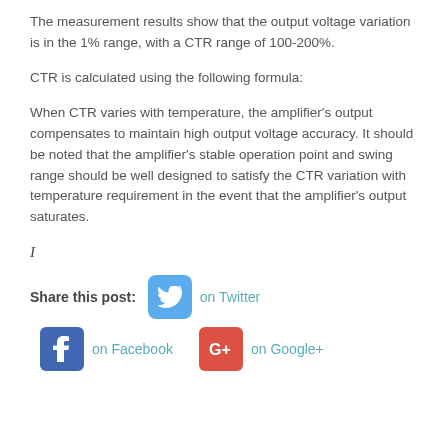The measurement results show that the output voltage variation is in the 1% range, with a CTR range of 100-200%.
CTR is calculated using the following formula:
When CTR varies with temperature, the amplifier’s output compensates to maintain high output voltage accuracy. It should be noted that the amplifier’s stable operation point and swing range should be well designed to satisfy the CTR variation with temperature requirement in the event that the amplifier’s output saturates.
I
Share this post: on Twitter on Facebook on Google+